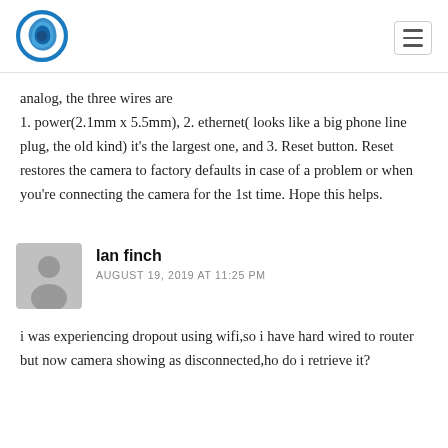[Figure (logo): Blue circular swirl/eye logo icon]
analog, the three wires are 1. power(2.1mm x 5.5mm), 2. ethernet( looks like a big phone line plug, the old kind) it's the largest one, and 3. Reset button. Reset restores the camera to factory defaults in case of a problem or when you're connecting the camera for the 1st time. Hope this helps.
[Figure (illustration): Gray placeholder avatar icon for user Ian finch]
Ian finch
AUGUST 19, 2019 AT 11:25 PM
i was experiencing dropout using wifi,so i have hard wired to router but now camera showing as disconnected,ho do i retrieve it?